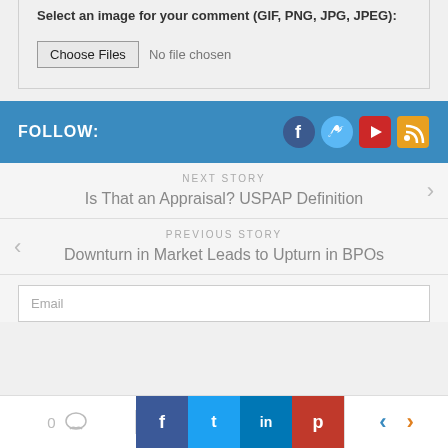Select an image for your comment (GIF, PNG, JPG, JPEG):
[Figure (screenshot): File input with Choose Files button and No file chosen text]
FOLLOW:
[Figure (infographic): Social media icons: Facebook, Twitter, YouTube, RSS]
NEXT STORY
Is That an Appraisal? USPAP Definition
PREVIOUS STORY
Downturn in Market Leads to Upturn in BPOs
Email
[Figure (screenshot): Bottom share bar with comment count 0, Facebook, Twitter, LinkedIn, Pinterest buttons and navigation arrows]